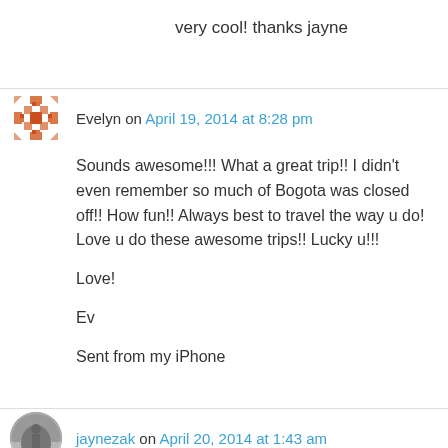very cool! thanks jayne
Evelyn on April 19, 2014 at 8:28 pm
Sounds awesome!!! What a great trip!! I didn’t even remember so much of Bogota was closed off!! How fun!! Always best to travel the way u do! Love u do these awesome trips!! Lucky u!!!
Love!
Ev
Sent from my iPhone
jaynezak on April 20, 2014 at 1:43 am